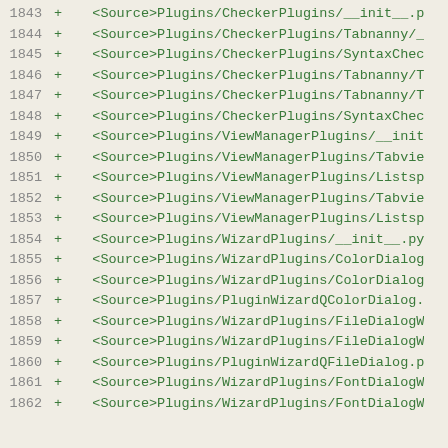1843 + <Source>Plugins/CheckerPlugins/__init__.p
1844 + <Source>Plugins/CheckerPlugins/Tabnanny/_
1845 + <Source>Plugins/CheckerPlugins/SyntaxChec
1846 + <Source>Plugins/CheckerPlugins/Tabnanny/T
1847 + <Source>Plugins/CheckerPlugins/Tabnanny/T
1848 + <Source>Plugins/CheckerPlugins/SyntaxChec
1849 + <Source>Plugins/ViewManagerPlugins/__init
1850 + <Source>Plugins/ViewManagerPlugins/Tabvie
1851 + <Source>Plugins/ViewManagerPlugins/Listsp
1852 + <Source>Plugins/ViewManagerPlugins/Tabvie
1853 + <Source>Plugins/ViewManagerPlugins/Listsp
1854 + <Source>Plugins/WizardPlugins/__init__.py
1855 + <Source>Plugins/WizardPlugins/ColorDialog
1856 + <Source>Plugins/WizardPlugins/ColorDialog
1857 + <Source>Plugins/PluginWizardQColorDialog.
1858 + <Source>Plugins/WizardPlugins/FileDialogW
1859 + <Source>Plugins/WizardPlugins/FileDialogW
1860 + <Source>Plugins/PluginWizardQFileDialog.p
1861 + <Source>Plugins/WizardPlugins/FontDialogW
1862 + <Source>Plugins/WizardPlugins/FontDialogW